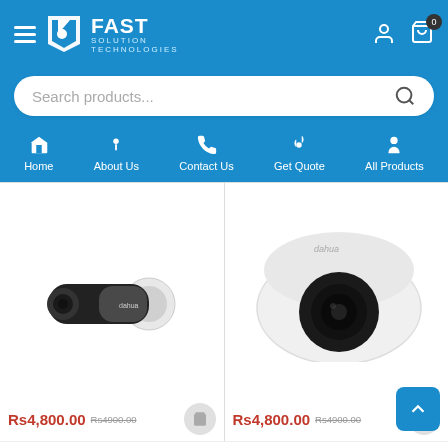[Figure (screenshot): Fast Solution Technologies e-commerce website header with hamburger menu, logo, search bar, navigation menu (Home, About Us, Contact Us, Get Quote, All Products), and two product listings showing Dahua cameras with prices Rs4,800.00 (was Rs4900.00)]
FAST SOLUTION TECHNOLOGIES
Search products...
Home   About Us   Contact Us   Get Quote   All Products
Rs4,800.00  Rs4900.00
Rs4,800.00  Rs4900.00
CCTV System, Dahua
Dahua HDCVI Camera DH-
CCTV System, Dahua
Digital Video Recorder DH-